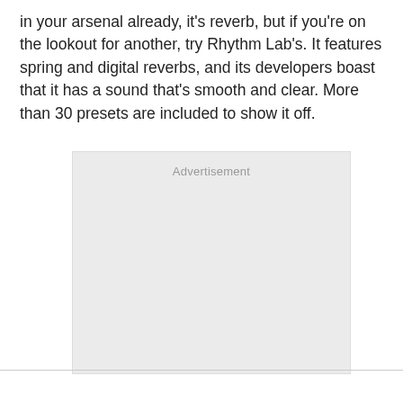in your arsenal already, it's reverb, but if you're on the lookout for another, try Rhythm Lab's. It features spring and digital reverbs, and its developers boast that it has a sound that's smooth and clear. More than 30 presets are included to show it off.
[Figure (other): Advertisement placeholder box with light gray background and 'Advertisement' label at top center]